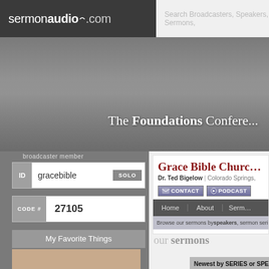sermonaudio.com | Search Broadcasters, Speakers, Sermons,
[Figure (screenshot): SermonAudio.com website screenshot showing broadcaster member login panel on the left with ID 'gracebible' and CODE# 27105, and the Grace Bible Church page on the right featuring Dr. Ted Bigelow in Colorado Springs with Contact and Podcast buttons, navigation bar, and 'our sermons' section with 'Newest by SERIES or SPEA...' filter button. Left panel also shows My Favorite Things section with MyLocal and MyChurch logos. Banner shows 'The Foundations Conference' text.]